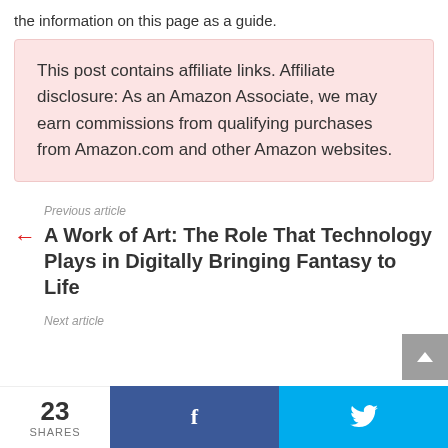the information on this page as a guide.
This post contains affiliate links. Affiliate disclosure: As an Amazon Associate, we may earn commissions from qualifying purchases from Amazon.com and other Amazon websites.
Previous article
A Work of Art: The Role That Technology Plays in Digitally Bringing Fantasy to Life
Next article
23 SHARES